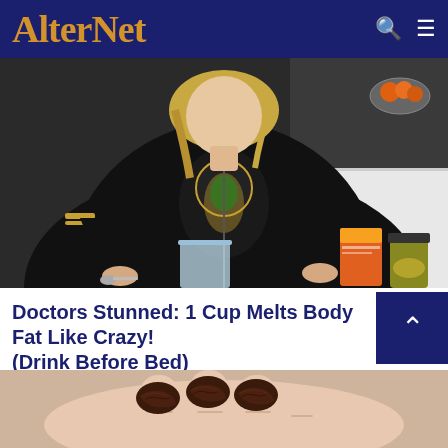AlterNet
[Figure (photo): Woman in black athletic jacket standing in a kitchen, holding a spoon over a glass cup, with food packages and a jar on the counter. A laptop and bowl of oranges are visible in the background.]
Doctors Stunned: 1 Cup Melts Body Fat Like Crazy! (Drink Before Bed)
[Figure (photo): Close-up of a hand holding several dark brown dried dates or prune-like fruits.]